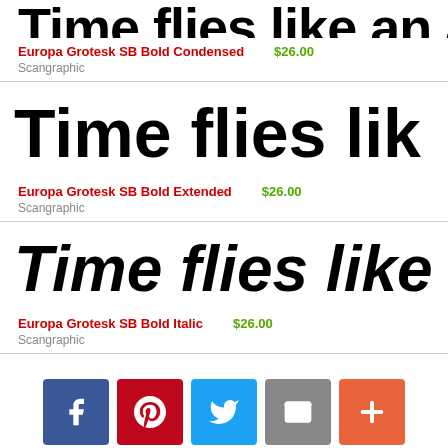[Figure (other): Large bold condensed font preview text: 'Time flies like an arr' clipped at top]
Europa Grotesk SB Bold Condensed   $26.00
Scangraphic
[Figure (other): Large bold extended font preview text: 'Time flies lik' clipped]
Europa Grotesk SB Bold Extended   $26.00
Scangraphic
[Figure (other): Large bold italic font preview text: 'Time flies like ar' clipped]
Europa Grotesk SB Bold Italic   $26.00
Scangraphic